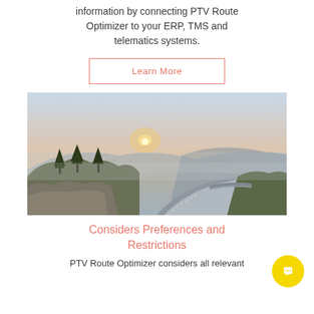information by connecting PTV Route Optimizer to your ERP, TMS and telematics systems.
Learn More
[Figure (photo): Aerial landscape photo of a winding highway through rocky, forested mountains at sunset with misty atmosphere]
Considers Preferences and Restrictions
PTV Route Optimizer considers all relevant